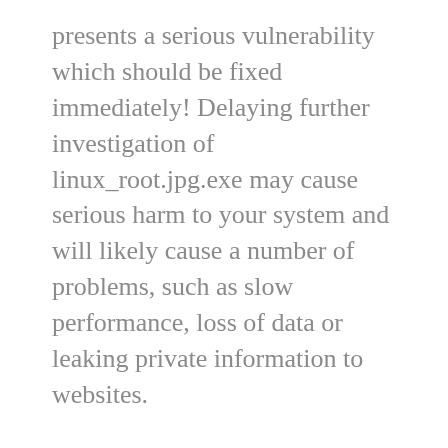presents a serious vulnerability which should be fixed immediately! Delaying further investigation of linux_root.jpg.exe may cause serious harm to your system and will likely cause a number of problems, such as slow performance, loss of data or leaking private information to websites.
You should take our Firewall Test and look at your Digital Footprint to make sure your system is not giving away valuable information or has open ports on your firewall that may allow attackers to